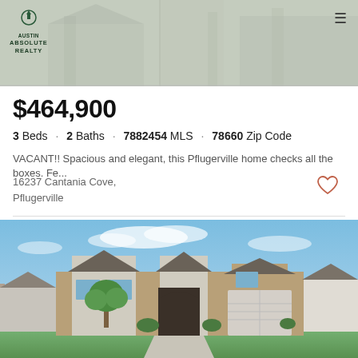Austin Absolute Realty
$464,900
3 Beds · 2 Baths · 7882454 MLS · 78660 Zip Code
VACANT!! Spacious and elegant, this Pflugerville home checks all the boxes. Fe...
16237 Cantania Cove,
Pflugerville
Listing courtesy of Offerpad Brokerage, LLC.
[Figure (photo): Exterior photo of a single-story brick and stone house with attached garage, green lawn, tree in front yard, blue sky with clouds.]